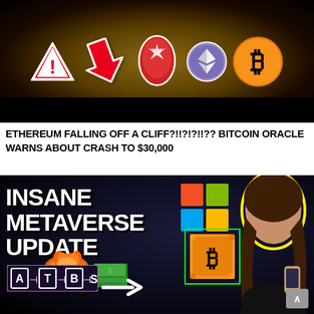[Figure (photo): YouTube thumbnail with dark golden background showing warning triangle emoji, red downward arrow emoji, red alarm light emoji, Ethereum logo, and Bitcoin logo on a black and gold background]
ETHEREUM FALLING OFF A CLIFF?!!?!?!!?? BITCOIN ORACLE WARNS ABOUT CRASH TO $30,000
[Figure (photo): YouTube thumbnail with dark space background showing large white bold text 'INSANE METAVERSE UPDATE', a Microsoft Windows logo, a pixelated Bitcoin coin, a woman holding a phone with yellow outline, explosion graphic, money stacks, and 'ATBS' logo in bottom left with a right-pointing arrow]